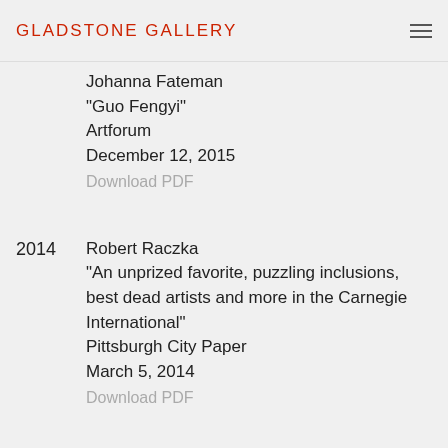GLADSTONE GALLERY
Johanna Fateman
"Guo Fengyi"
Artforum
December 12, 2015
Download PDF
2014  Robert Raczka
"An unprized favorite, puzzling inclusions, best dead artists and more in the Carnegie International"
Pittsburgh City Paper
March 5, 2014
Download PDF
2013  Julie Hannon
"A playful, soulful spectacle"
Carnegie
Winter 2013
Download PDF